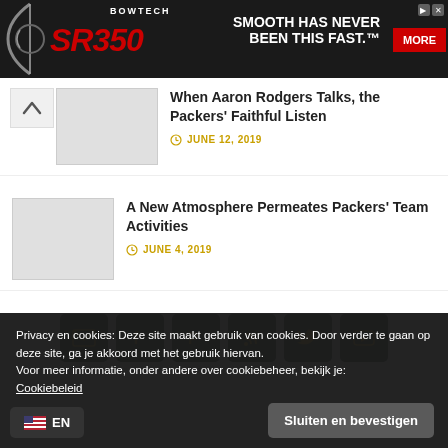[Figure (illustration): Bowtech SR350 advertisement banner with bow image, red SR350 logo, and 'SMOOTH HAS NEVER BEEN THIS FAST.' slogan with MORE button]
When Aaron Rodgers Talks, the Packers' Faithful Listen — JUNE 12, 2019
A New Atmosphere Permeates Packers' Team Activities — JUNE 4, 2019
[Figure (infographic): Social media icon row: email, facebook, pinterest, RSS, twitter, youtube — dark green square buttons]
Privacy en cookies: Deze site maakt gebruik van cookies. Door verder te gaan op deze site, ga je akkoord met het gebruik hiervan.
Voor meer informatie, onder andere over cookiebeheer, bekijk je:
Cookiebeleid
Sluiten en bevestigen
EN